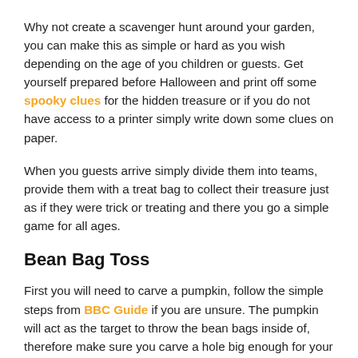Why not create a scavenger hunt around your garden, you can make this as simple or hard as you wish depending on the age of you children or guests. Get yourself prepared before Halloween and print off some spooky clues for the hidden treasure or if you do not have access to a printer simply write down some clues on paper.
When you guests arrive simply divide them into teams, provide them with a treat bag to collect their treasure just as if they were trick or treating and there you go a simple game for all ages.
Bean Bag Toss
First you will need to carve a pumpkin, follow the simple steps from BBC Guide if you are unsure. The pumpkin will act as the target to throw the bean bags inside of, therefore make sure you carve a hole big enough for your bean bags